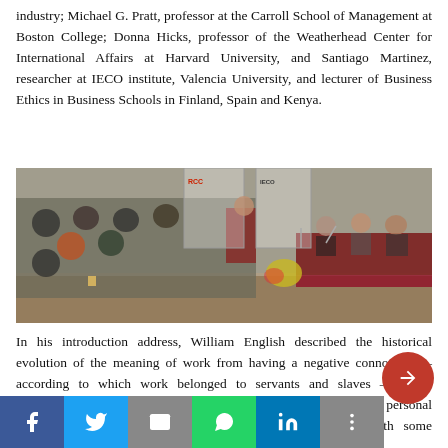industry; Michael G. Pratt, professor at the Carroll School of Management at Boston College; Donna Hicks, professor of the Weatherhead Center for International Affairs at Harvard University, and Santiago Martinez, researcher at IECO institute, Valencia University, and lecturer of Business Ethics in Business Schools in Finland, Spain and Kenya.
[Figure (photo): Conference room with audience seated on left, a speaker at a podium in the center background, and panelists seated at a draped table on the right. RCC and IECO banners visible in background.]
In his introduction address, William English described the historical evolution of the meaning of work from having a negative connotation – according to which work belonged to servants and slaves – to the importance it has today, when work is considered as part of personal development. William English challenged the participants with some questions about meaningfulness at work that th... a... u...